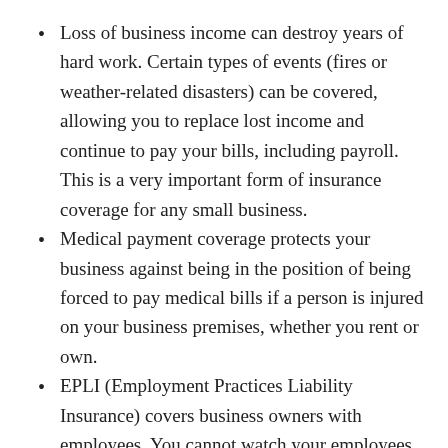Loss of business income can destroy years of hard work. Certain types of events (fires or weather-related disasters) can be covered, allowing you to replace lost income and continue to pay your bills, including payroll. This is a very important form of insurance coverage for any small business.
Medical payment coverage protects your business against being in the position of being forced to pay medical bills if a person is injured on your business premises, whether you rent or own.
EPLI (Employment Practices Liability Insurance) covers business owners with employees. You cannot watch your employees every day, and if there is any claim that one of your